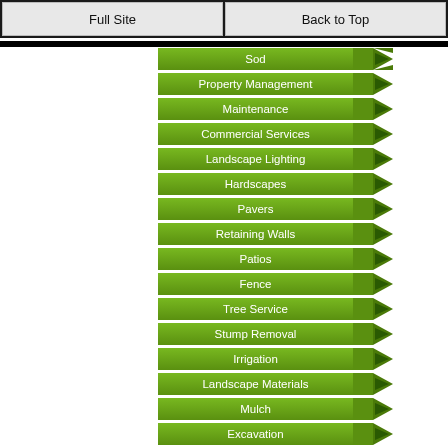Full Site | Back to Top
Sod
Property Management
Maintenance
Commercial Services
Landscape Lighting
Hardscapes
Pavers
Retaining Walls
Patios
Fence
Tree Service
Stump Removal
Irrigation
Landscape Materials
Mulch
Excavation